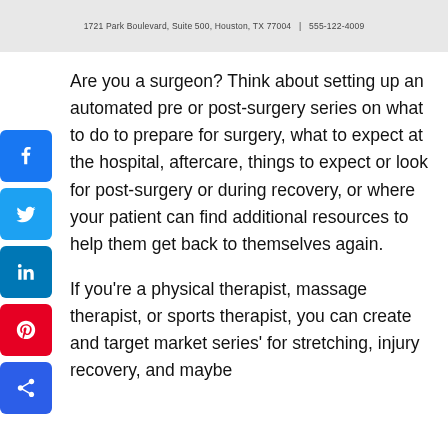1721 Park Boulevard, Suite 500, Houston, TX 77004   |   555-122-4009
Are you a surgeon? Think about setting up an automated pre or post-surgery series on what to do to prepare for surgery, what to expect at the hospital, aftercare, things to expect or look for post-surgery or during recovery, or where your patient can find additional resources to help them get back to themselves again.
If you're a physical therapist, massage therapist, or sports therapist, you can create and target market series' for stretching, injury recovery, and maybe